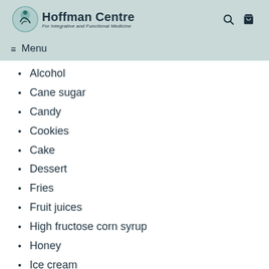Hoffman Centre For Integrative and Functional Medicine
Alcohol
Cane sugar
Candy
Cookies
Cake
Dessert
Fries
Fruit juices
High fructose corn syrup
Honey
Ice cream
Maple syrup
Pastries